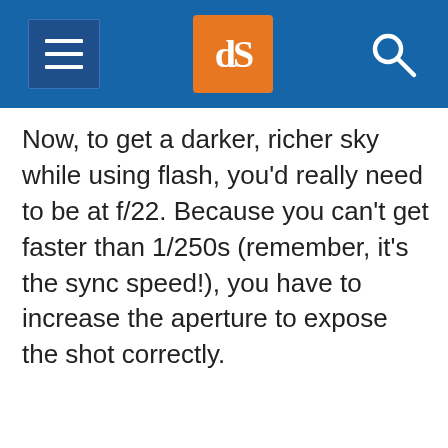dPS navigation header with hamburger menu, dPS logo, and search icon
Now, to get a darker, richer sky while using flash, you'd really need to be at f/22. Because you can't get faster than 1/250s (remember, it's the sync speed!), you have to increase the aperture to expose the shot correctly.
[Figure (photo): Three young men photographed outdoors under a blue sky with white clouds. The man on the left wears a dark striped shirt and smiles; the man in the middle has curly hair and looks down; the man on the right wears a white shirt and also looks down. The image demonstrates outdoor flash photography technique.]